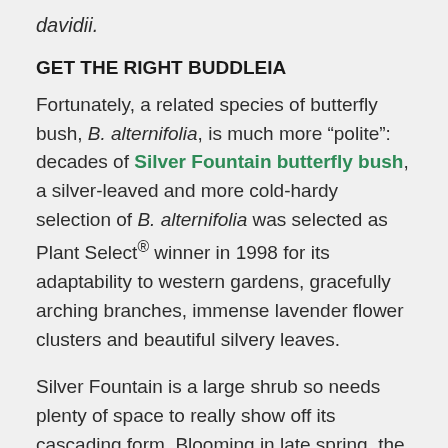davidii.
GET THE RIGHT BUDDLEIA
Fortunately, a related species of butterfly bush, B. alternifolia, is much more "polite": decades of Silver Fountain butterfly bush, a silver-leaved and more cold-hardy selection of B. alternifolia was selected as Plant Select® winner in 1998 for its adaptability to western gardens, gracefully arching branches, immense lavender flower clusters and beautiful silvery leaves.
Silver Fountain is a large shrub so needs plenty of space to really show off its cascading form. Blooming in late spring, the sweetly fragrant flowers are most